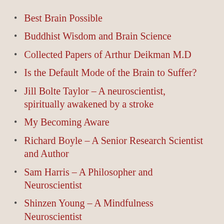Best Brain Possible
Buddhist Wisdom and Brain Science
Collected Papers of Arthur Deikman M.D
Is the Default Mode of the Brain to Suffer?
Jill Bolte Taylor – A neuroscientist, spiritually awakened by a stroke
My Becoming Aware
Richard Boyle – A Senior Research Scientist and Author
Sam Harris – A Philosopher and Neuroscientist
Shinzen Young – A Mindfulness Neuroscientist
The Case Against Reality
Thoughts rewire your brain